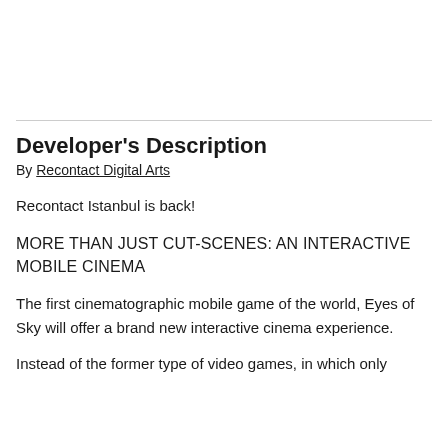Developer's Description
By Recontact Digital Arts
Recontact Istanbul is back!
MORE THAN JUST CUT-SCENES: AN INTERACTIVE MOBILE CINEMA
The first cinematographic mobile game of the world, Eyes of Sky will offer a brand new interactive cinema experience.
Instead of the former type of video games, in which only